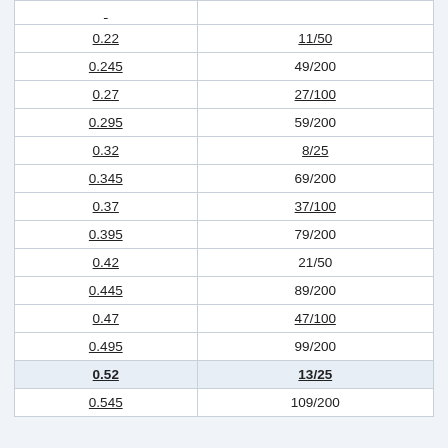| 0.22 | 11/50 |
| 0.245 | 49/200 |
| 0.27 | 27/100 |
| 0.295 | 59/200 |
| 0.32 | 8/25 |
| 0.345 | 69/200 |
| 0.37 | 37/100 |
| 0.395 | 79/200 |
| 0.42 | 21/50 |
| 0.445 | 89/200 |
| 0.47 | 47/100 |
| 0.495 | 99/200 |
| 0.52 | 13/25 |
| 0.545 | 109/200 |